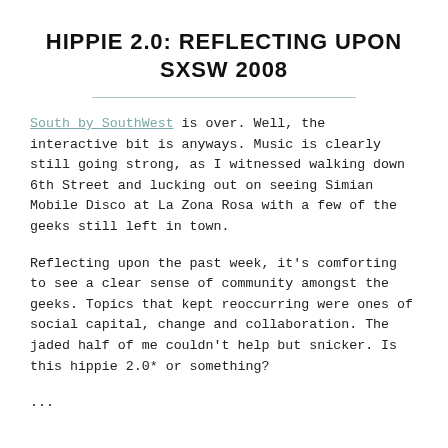HIPPIE 2.0: REFLECTING UPON SXSW 2008
South by SouthWest is over. Well, the interactive bit is anyways. Music is clearly still going strong, as I witnessed walking down 6th Street and lucking out on seeing Simian Mobile Disco at La Zona Rosa with a few of the geeks still left in town.
Reflecting upon the past week, it's comforting to see a clear sense of community amongst the geeks. Topics that kept reoccurring were ones of social capital, change and collaboration. The jaded half of me couldn't help but snicker. Is this hippie 2.0* or something?
...